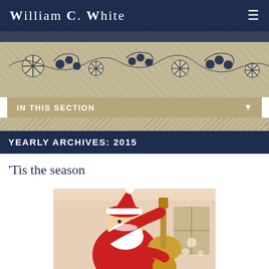William C. White
[Figure (illustration): Decorative holiday banner with snowflakes and berries on a diagonal-striped background in dark navy and tan]
IN THIS SECTION
YEARLY ARCHIVES: 2015
‘Tis the season
[Figure (photo): Santa Claus playing an electric guitar indoors with Christmas decorations in the background]